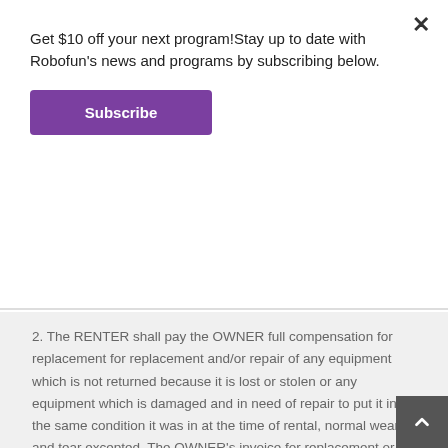Get $10 off your next program!Stay up to date with Robofun's news and programs by subscribing below.
Subscribe
×
2. The RENTER shall pay the OWNER full compensation for replacement for replacement and/or repair of any equipment which is not returned because it is lost or stolen or any equipment which is damaged and in need of repair to put it into the same condition it was in at the time of rental, normal wear and tear excepted. The OWNER's invoice for replacement or repair is conclusive as to the amount RENTER shall pay under this paragraph for repair or replacement.